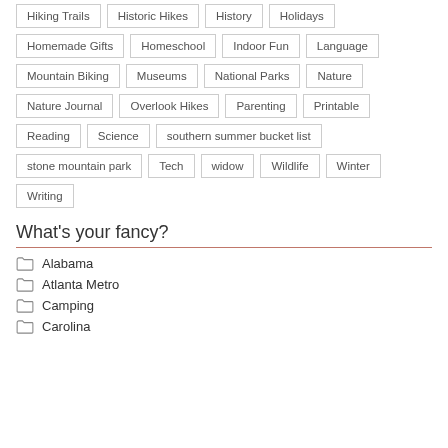Hiking Trails
Historic Hikes
History
Holidays
Homemade Gifts
Homeschool
Indoor Fun
Language
Mountain Biking
Museums
National Parks
Nature
Nature Journal
Overlook Hikes
Parenting
Printable
Reading
Science
southern summer bucket list
stone mountain park
Tech
widow
Wildlife
Winter
Writing
What's your fancy?
Alabama
Atlanta Metro
Camping
Carolina